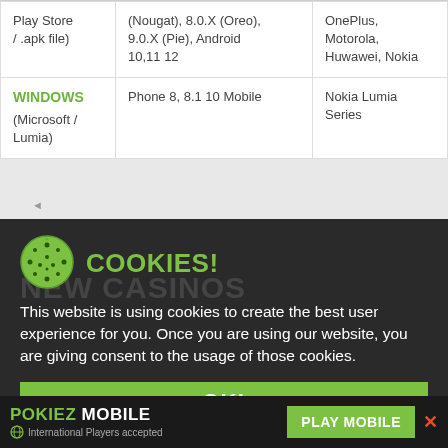| OS | Version | Devices |
| --- | --- | --- |
| Play Store / .apk file) | (Nougat), 8.0.X (Oreo), 9.0.X (Pie), Android 10,11 12 | OnePlus, Motorola, Huwawei, Nokia |
| WINDOWS (Microsoft / Lumia) | Phone 8, 8.1 10 Mobile | Nokia Lumia Series |
[Figure (logo): Cookie icon - green circle with dots pattern]
COOKIES!
NEW CASINOS
This website is using cookies to create the best user experience for you. Once you are using our website, you are giving consent to the usage of those cookies.
OK!
POKIEZ MOBILE | International Players accepted | PLAY MOBILE